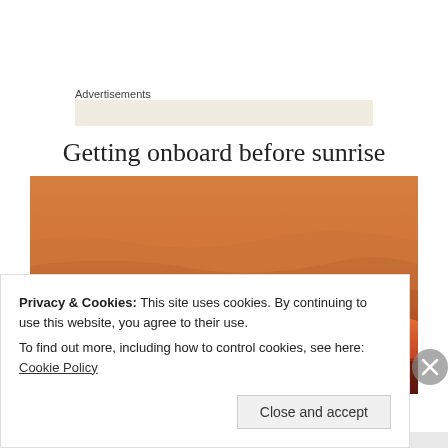Advertisements
Getting onboard before sunrise
[Figure (photo): A photograph of a warm orange and red sunset/sunrise sky with cloud layers and a glowing horizon]
Privacy & Cookies: This site uses cookies. By continuing to use this website, you agree to their use.
To find out more, including how to control cookies, see here: Cookie Policy
Close and accept